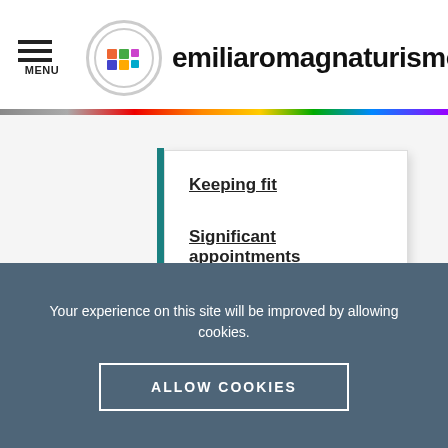emiliaromagnaturismo — MENU
Keeping fit
Significant appointments
In the surroundings
WHY VISIT IT
Your experience on this site will be improved by allowing cookies.
ALLOW COOKIES